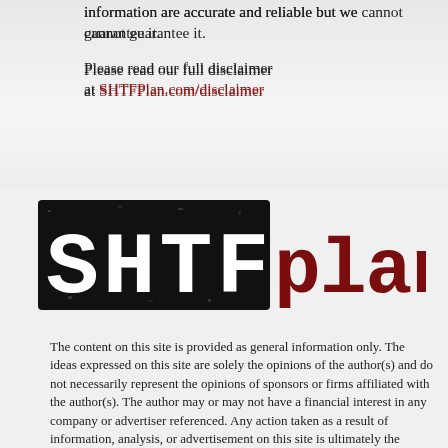information are accurate and reliable but we cannot guarantee it.
Please read our full disclaimer at SHTFPlan.com/disclaimer
[Figure (logo): SHTFplan logo: 'SHTF' in large distressed bold white text on black background, followed by 'plan' in large dark red distressed font]
The content on this site is provided as general information only. The ideas expressed on this site are solely the opinions of the author(s) and do not necessarily represent the opinions of sponsors or firms affiliated with the author(s). The author may or may not have a financial interest in any company or advertiser referenced. Any action taken as a result of information, analysis, or advertisement on this site is ultimately the responsibility of the